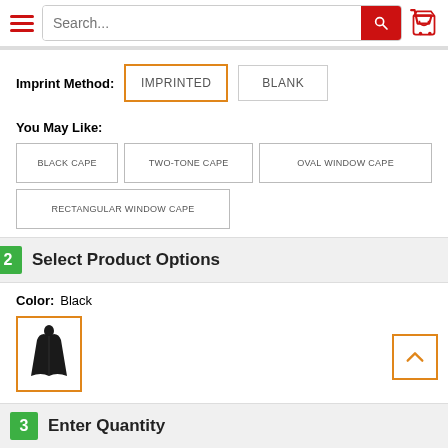[Figure (screenshot): Website header with hamburger menu, search bar, and cart icon]
Imprint Method: IMPRINTED BLANK
You May Like:
BLACK CAPE
TWO-TONE CAPE
OVAL WINDOW CAPE
RECTANGULAR WINDOW CAPE
2 Select Product Options
Color: Black
[Figure (photo): Black cape product image in orange-bordered selection box]
3 Enter Quantity